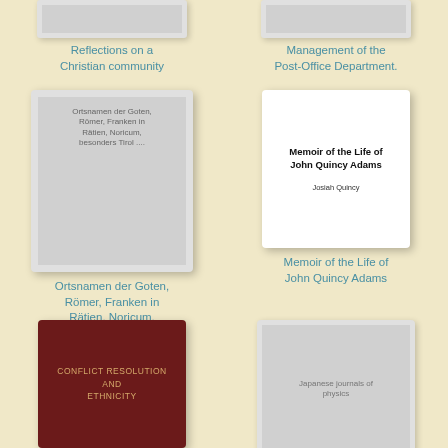[Figure (illustration): Partial book cover at top left, gray]
Reflections on a Christian community
[Figure (illustration): Partial book cover at top right, gray]
Management of the Post-Office Department.
[Figure (illustration): Book cover: Ortsnamen der Goten, Römer, Franken in Rätien, Noricum, besonders Tirol ....]
Ortsnamen der Goten, Römer, Franken in Rätien, Noricum, besonders Tirol ....
[Figure (illustration): Book cover: Memoir of the Life of John Quincy Adams by Josiah Quincy]
Memoir of the Life of John Quincy Adams
[Figure (illustration): Book cover: Conflict Resolution and Ethnicity, dark red cover]
[Figure (illustration): Partial book cover at bottom right, gray, Japanese journals of physics]